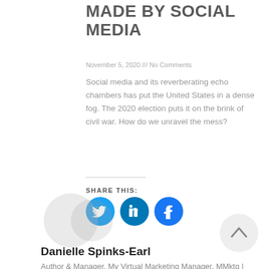MADE BY SOCIAL MEDIA
November 5, 2020 /// No Comments
Social media and its reverberating echo chambers has put the United States in a dense fog. The 2020 election puts it on the brink of civil war. How do we unravel the mess?
SHARE THIS:
[Figure (illustration): Three circular social media share buttons: Twitter (blue bird icon), LinkedIn (blue 'in' icon), Facebook (blue 'f' icon)]
[Figure (photo): Faded circular author avatar placeholder]
[Figure (illustration): Scroll-to-top button: circular grey button with upward arrow]
Danielle Spinks-Earl
Author & Manager, My Virtual Marketing Manager. MMktg | BACS